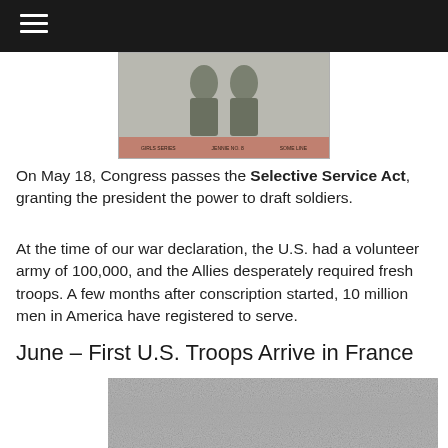[Figure (photo): Historical card or document image showing two figures with a salmon/pink caption bar at the bottom containing small text labels]
On May 18, Congress passes the Selective Service Act, granting the president the power to draft soldiers.
At the time of our war declaration, the U.S. had a volunteer army of 100,000, and the Allies desperately required fresh troops. A few months after conscription started, 10 million men in America have registered to serve.
June – First U.S. Troops Arrive in France
[Figure (photo): Black and white historical photograph showing U.S. troops arriving in France]